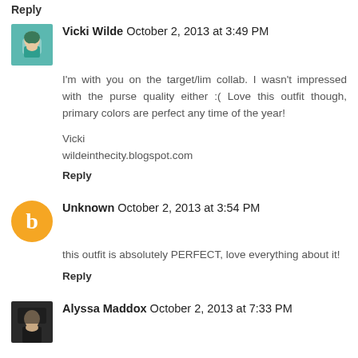Reply
Vicki Wilde October 2, 2013 at 3:49 PM
I'm with you on the target/lim collab. I wasn't impressed with the purse quality either :( Love this outfit though, primary colors are perfect any time of the year!

Vicki
wildeinthecity.blogspot.com
Reply
Unknown October 2, 2013 at 3:54 PM
this outfit is absolutely PERFECT, love everything about it!
Reply
Alyssa Maddox October 2, 2013 at 7:33 PM